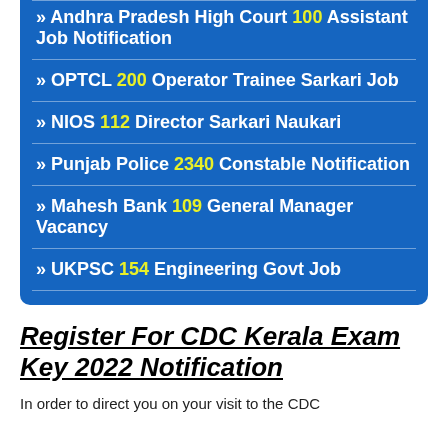» Andhra Pradesh High Court 100 Assistant Job Notification
» OPTCL 200 Operator Trainee Sarkari Job
» NIOS 112 Director Sarkari Naukari
» Punjab Police 2340 Constable Notification
» Mahesh Bank 109 General Manager Vacancy
» UKPSC 154 Engineering Govt Job
Register For CDC Kerala Exam Key 2022 Notification
In order to direct you on your visit to the CDC